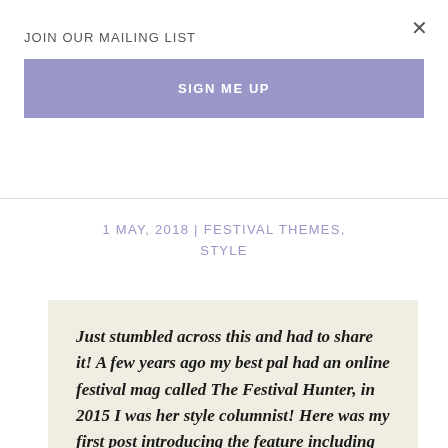×
JOIN OUR MAILING LIST
SIGN ME UP
1 MAY, 2018 | FESTIVAL THEMES, STYLE
Just stumbled across this and had to share it! A few years ago my best pal had an online festival mag called The Festival Hunter, in 2015 I was her style columnist! Here was my first post introducing the feature including some general words about 'festival style' that still ring true for me as well as some